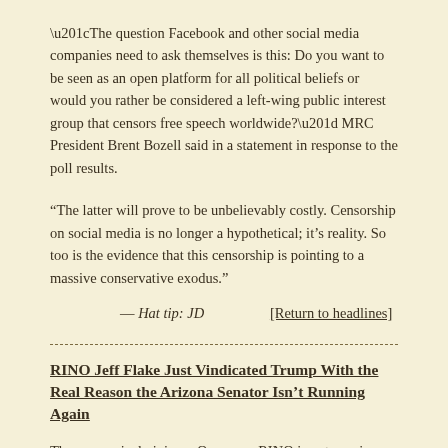“The question Facebook and other social media companies need to ask themselves is this: Do you want to be seen as an open platform for all political beliefs or would you rather be considered a left-wing public interest group that censors free speech worldwide?” MRC President Brent Bozell said in a statement in response to the poll results.
“The latter will prove to be unbelievably costly. Censorship on social media is no longer a hypothetical; it’s reality. So too is the evidence that this censorship is pointing to a massive conservative exodus.”
— Hat tip: JD        [Return to headlines]
RINO Jeff Flake Just Vindicated Trump With the Real Reason the Arizona Senator Isn’t Running Again
The swamp is draining…One more RINO is not running for reelection. Senator Jeff Flake announced he will not run again today in a vindictive speech against President Trump and Republicans. Hey, the guy was even thinking